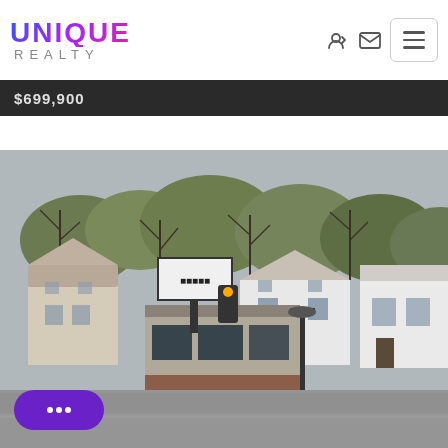[Figure (logo): Unique Realty logo with gradient blue-purple text for UNIQUE and grey REALTY below]
$699,900
[Figure (photo): Street-level photo of a commercial building with storefronts and signage, residential houses and bare trees in background, overcast day]